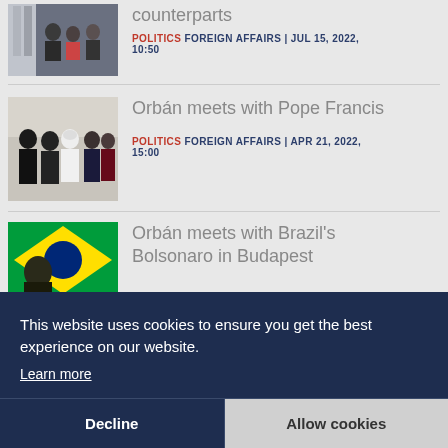[Figure (photo): Photo of politicians at a meeting table with flags in the background]
counterparts
POLITICS FOREIGN AFFAIRS | JUL 15, 2022, 10:50
[Figure (photo): Photo of Orbán meeting with Pope Francis, group of people posing together]
Orbán meets with Pope Francis
POLITICS FOREIGN AFFAIRS | APR 21, 2022, 15:00
[Figure (photo): Photo with Brazilian flag visible, Orbán meeting with Bolsonaro]
Orbán meets with Brazil's Bolsonaro in Budapest
This website uses cookies to ensure you get the best experience on our website.
Learn more
Decline
Allow cookies